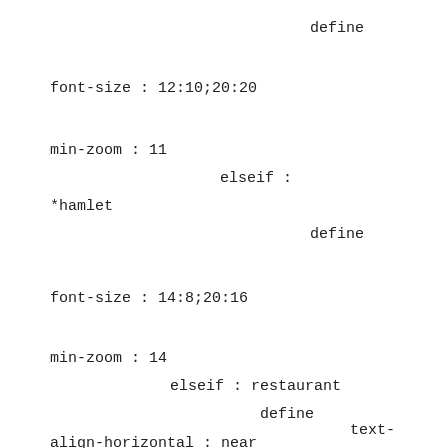define
font-size : 12:10;20:20
min-zoom : 11
elseif :
*hamlet
define
font-size : 14:8;20:16
min-zoom : 14
elseif : restaurant
define
text-
align-horizontal : near
text-